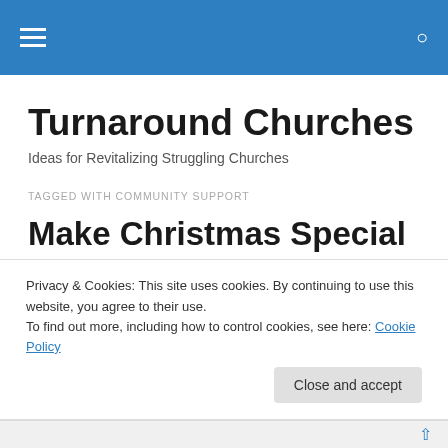Turnaround Churches — navigation bar
Turnaround Churches
Ideas for Revitalizing Struggling Churches
TAGGED WITH COMMUNITY SUPPORT
Make Christmas Special
It's only Reformation Day (Halloween for the pagans) and
Privacy & Cookies: This site uses cookies. By continuing to use this website, you agree to their use. To find out more, including how to control cookies, see here: Cookie Policy
Close and accept